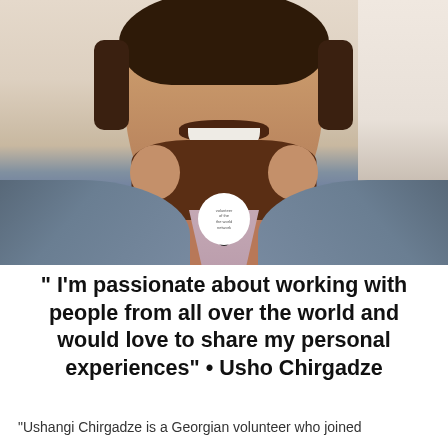[Figure (photo): Close-up portrait photo of a smiling young man with a brown beard and mustache, wearing a grey blazer over a pink/mauve shirt. A circular white badge/logo is visible at the bottom center of the image overlapping the chest area.]
" I'm passionate about working with people from all over the world and would love to share my personal experiences" • Usho Chirgadze
"Ushangi Chirgadze is a Georgian volunteer who joined